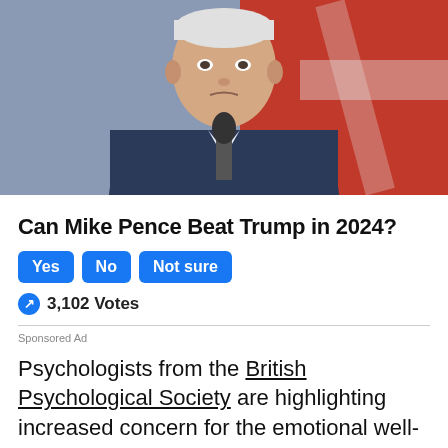[Figure (photo): Man in dark suit standing at a microphone podium with American flag in the background]
Can Mike Pence Beat Trump in 2024?
Yes  No  Not sure
3,102 Votes
Sponsored Ad
Psychologists from the British Psychological Society are highlighting increased concern for the emotional well-being of surviving residents and other